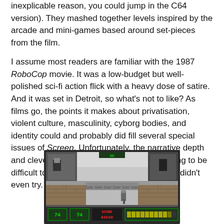inexplicable reason, you could jump in the C64 version). They mashed together levels inspired by the arcade and mini-games based around set-pieces from the film.
I assume most readers are familiar with the 1987 RoboCop movie. It was a low-budget but well-polished sci-fi action flick with a heavy dose of satire. And it was set in Detroit, so what's not to like? As films go, the points it makes about privatisation, violent culture, masculinity, cyborg bodies, and identity could and probably did fill several special issues of Screen. Unfortunately, the narrative depth and clever intellectual nods were always going to be difficult to realise in a video game, so Ocean didn't even try.
[Figure (screenshot): Screenshot of the RoboCop video game showing a side-scrolling action scene with a robot character, enemies, and a HUD at the bottom displaying score, health bar, and other indicators.]